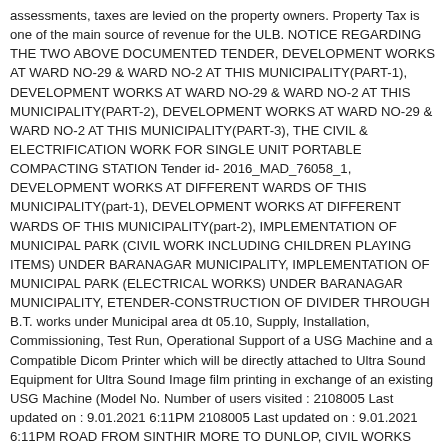assessments, taxes are levied on the property owners. Property Tax is one of the main source of revenue for the ULB. NOTICE REGARDING THE TWO ABOVE DOCUMENTED TENDER, DEVELOPMENT WORKS AT WARD NO-29 & WARD NO-2 AT THIS MUNICIPALITY(PART-1), DEVELOPMENT WORKS AT WARD NO-29 & WARD NO-2 AT THIS MUNICIPALITY(PART-2), DEVELOPMENT WORKS AT WARD NO-29 & WARD NO-2 AT THIS MUNICIPALITY(PART-3), THE CIVIL & ELECTRIFICATION WORK FOR SINGLE UNIT PORTABLE COMPACTING STATION Tender id- 2016_MAD_76058_1, DEVELOPMENT WORKS AT DIFFERENT WARDS OF THIS MUNICIPALITY(part-1), DEVELOPMENT WORKS AT DIFFERENT WARDS OF THIS MUNICIPALITY(part-2), IMPLEMENTATION OF MUNICIPAL PARK (CIVIL WORK INCLUDING CHILDREN PLAYING ITEMS) UNDER BARANAGAR MUNICIPALITY, IMPLEMENTATION OF MUNICIPAL PARK (ELECTRICAL WORKS) UNDER BARANAGAR MUNICIPALITY, ETENDER-CONSTRUCTION OF DIVIDER THROUGH B.T. works under Municipal area dt 05.10, Supply, Installation, Commissioning, Test Run, Operational Support of a USG Machine and a Compatible Dicom Printer which will be directly attached to Ultra Sound Equipment for Ultra Sound Image film printing in exchange of an existing USG Machine (Model No. Number of users visited : 2108005 Last updated on : 9.01.2021 6:11PM 2108005 Last updated on : 9.01.2021 6:11PM ROAD FROM SINTHIR MORE TO DUNLOP, CIVIL WORKS FOR CREMATORIUM AT KELVIN GHAT UNDER BARANAGAR MUNICIPALITY(Date Extended up to 14.01.2016), ETENDER: CIVIL AND ELECTRICAL MECHANICAL WORK FOR CREMATORIUM AT